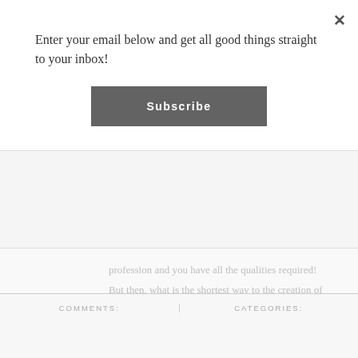Enter your email below and get all good things straight to your inbox!
Subscribe
profession and you have all the qualities required! But then, what is the shortest way to the creation of your future study? Patience butterfly, let's start at the beginning and let's walk the road together. Maybe …
VIEW POST
COMMENTS:
CATEGORIES: